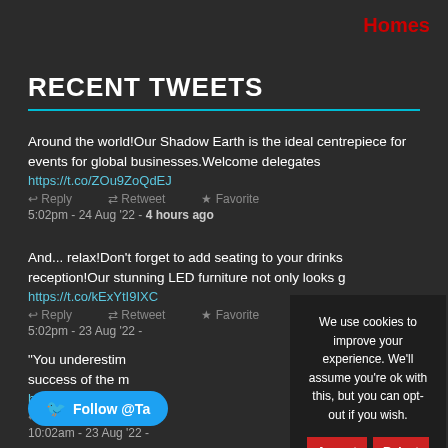Homes
RECENT TWEETS
Around the world!Our Shadow Earth is the ideal centrepiece for events for global businesses.Welcome delegates https://t.co/ZOu9ZoQdEJ
Reply  Retweet  Favorite
5:02pm - 24 Aug '22 - 4 hours ago
And... relax!Don't forget to add seating to your drinks reception!Our stunning LED furniture not only looks g https://t.co/kExYtI9IXC
Reply  Retweet  Favorite
5:02pm - 23 Aug '22 -
"You underestim success of the m https://t.co/wAVo
Reply
10:02am - 23 Aug '22 -
Follow @Ta
We use cookies to improve your experience. We'll assume you're ok with this, but you can opt-out if you wish.
Accept  Reject
Read More